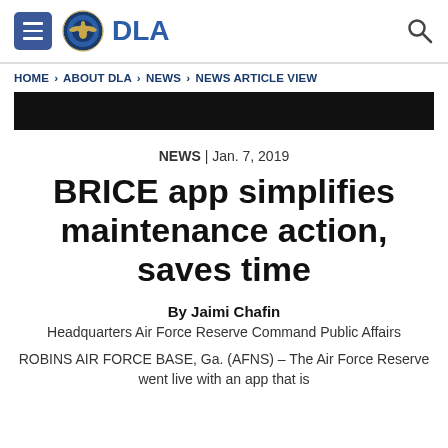DLA
HOME > ABOUT DLA > NEWS > NEWS ARTICLE VIEW
[Figure (other): Black banner bar]
NEWS | Jan. 7, 2019
BRICE app simplifies maintenance action, saves time
By Jaimi Chafin
Headquarters Air Force Reserve Command Public Affairs
ROBINS AIR FORCE BASE, Ga. (AFNS) – The Air Force Reserve went live with an app that is